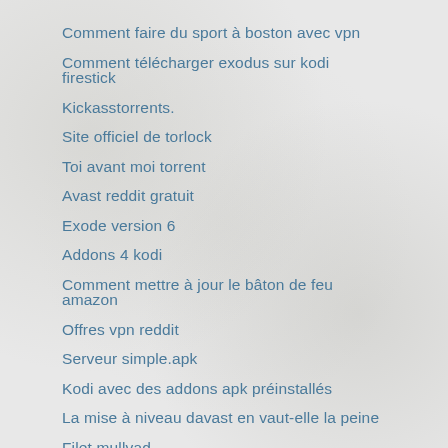Comment faire du sport à boston avec vpn
Comment télécharger exodus sur kodi firestick
Kickasstorrents.
Site officiel de torlock
Toi avant moi torrent
Avast reddit gratuit
Exode version 6
Addons 4 kodi
Comment mettre à jour le bâton de feu amazon
Offres vpn reddit
Serveur simple.apk
Kodi avec des addons apk préinstallés
La mise à niveau davast en vaut-elle la peine
Filet mullvad